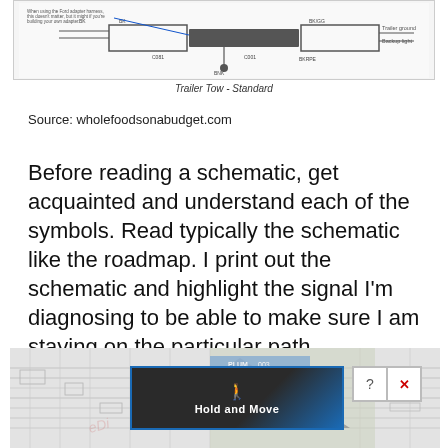[Figure (schematic): Trailer Tow - Standard wiring schematic diagram showing connector pins, wire colors, and trailer ground/backup light labels]
Trailer Tow - Standard
Source: wholefoodsonabudget.com
Before reading a schematic, get acquainted and understand each of the symbols. Read typically the schematic like the roadmap. I print out the schematic and highlight the signal I’m diagnosing to be able to make sure I am staying on the particular path.
[Figure (schematic): Complex automotive wiring diagram with an overlay advertisement showing 'Hold and Move' with a person icon and close/help buttons]